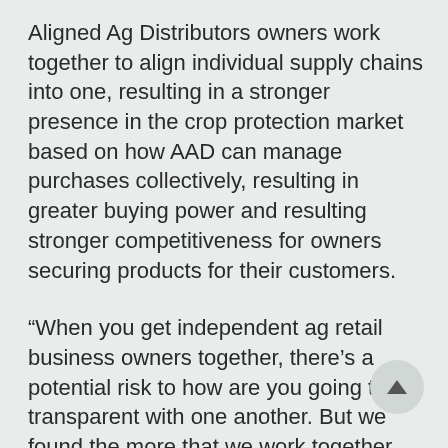Aligned Ag Distributors owners work together to align individual supply chains into one, resulting in a stronger presence in the crop protection market based on how AAD can manage purchases collectively, resulting in greater buying power and resulting stronger competitiveness for owners securing products for their customers.
“When you get independent ag retail business owners together, there’s a potential risk to how are you going to be transparent with one another. But we found the more that we work together, the more closely aligned we are,” said